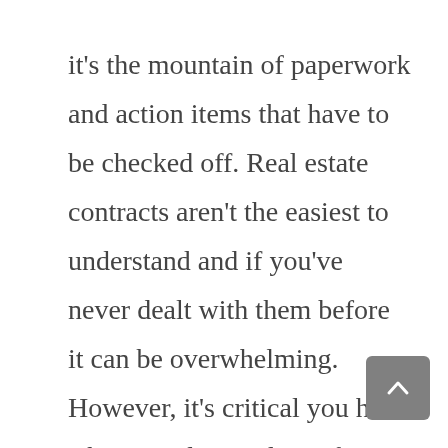it's the mountain of paperwork and action items that have to be checked off. Real estate contracts aren't the easiest to understand and if you've never dealt with them before it can be overwhelming. However, it's critical you have a basic understanding of your real estate contract, so you don't get hosed when the home changes hands.